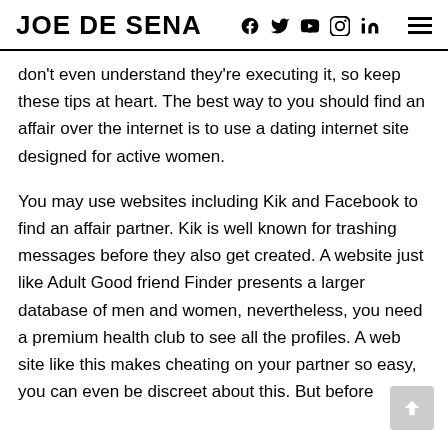JOE DE SENA
don't even understand they're executing it, so keep these tips at heart. The best way to you should find an affair over the internet is to use a dating internet site designed for active women.
You may use websites including Kik and Facebook to find an affair partner. Kik is well known for trashing messages before they also get created. A website just like Adult Good friend Finder presents a larger database of men and women, nevertheless, you need a premium health club to see all the profiles. A web site like this makes cheating on your partner so easy, you can even be discreet about this. But before